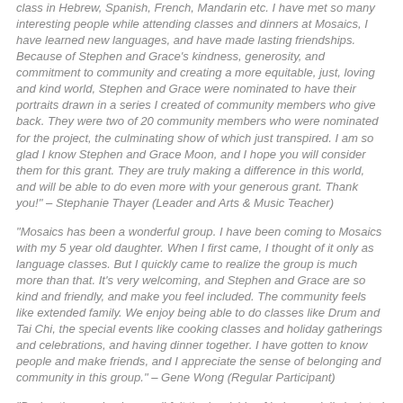class in Hebrew, Spanish, French, Mandarin etc. I have met so many interesting people while attending classes and dinners at Mosaics, I have learned new languages, and have made lasting friendships. Because of Stephen and Grace's kindness, generosity, and commitment to community and creating a more equitable, just, loving and kind world, Stephen and Grace were nominated to have their portraits drawn in a series I created of community members who give back. They were two of 20 community members who were nominated for the project, the culminating show of which just transpired. I am so glad I know Stephen and Grace Moon, and I hope you will consider them for this grant. They are truly making a difference in this world, and will be able to do even more with your generous grant. Thank you!" – Stephanie Thayer (Leader and Arts & Music Teacher)
"Mosaics has been a wonderful group. I have been coming to Mosaics with my 5 year old daughter. When I first came, I thought of it only as language classes. But I quickly came to realize the group is much more than that. It's very welcoming, and Stephen and Grace are so kind and friendly, and make you feel included. The community feels like extended family. We enjoy being able to do classes like Drum and Tai Chi, the special events like cooking classes and holiday gatherings and celebrations, and having dinner together. I have gotten to know people and make friends, and I appreciate the sense of belonging and community in this group." – Gene Wong (Regular Participant)
"During the pandemic, we all felt the hardship of being socially isolated and the boredom of staying home on our own. I was very happy to find the